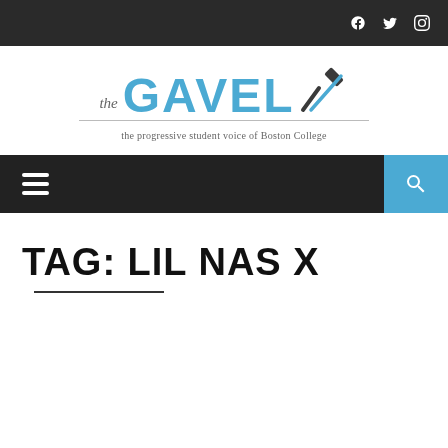The Gavel — the progressive student voice of Boston College
[Figure (logo): The Gavel logo with gavel/hammer icon and tagline 'the progressive student voice of Boston College']
TAG: LIL NAS X